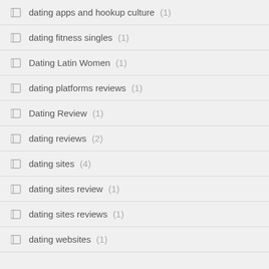dating apps and hookup culture (1)
dating fitness singles (1)
Dating Latin Women (1)
dating platforms reviews (1)
Dating Review (1)
dating reviews (2)
dating sites (4)
dating sites review (1)
dating sites reviews (1)
dating websites (1)